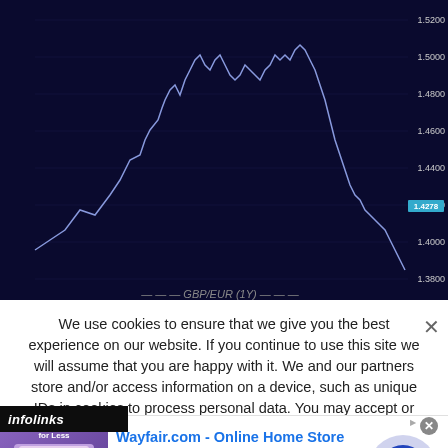[Figure (continuous-plot): Financial line chart on dark navy background showing a price line (white/light blue) with values ranging approximately from 1.3800 to 1.5200. Y-axis labels visible on right side: 1.5200, 1.5000, 1.4800, 1.4600, 1.4400, 1.4200, 1.4000, 1.3800. A tooltip box near right side shows currency pair label and value 1.4278.]
We use cookies to ensure that we give you the best experience on our website. If you continue to use this site we will assume that you are happy with it. We and our partners store and/or access information on a device, such as unique IDs in cookies to process personal data. You may accept or manage your choices by clicking below, including your right to object where legitimate interest is used, or at any time in the privacy policy page. These choices will be signalled to our partners and will not affect browsing data. We and our partners process data to provide: Use precise geolocation data. ely scan device characteristics for identification. Store and/or
[Figure (logo): infolinks logo - white text on dark background]
[Figure (other): Wayfair.com advertisement banner. Shows bedroom furniture image on left, ad text 'Wayfair.com - Online Home Store Sale!' with subtitle 'Shop for A Zillion Things Home across all styles at Wayfair!' and URL www.wayfair.com, with blue circular play/arrow button on right.]